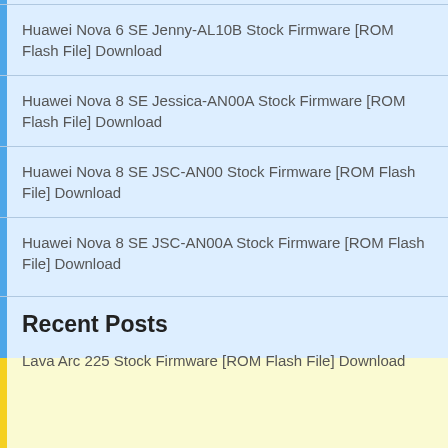Huawei Nova 6 SE Jenny-AL10B Stock Firmware [ROM Flash File] Download
Huawei Nova 8 SE Jessica-AN00A Stock Firmware [ROM Flash File] Download
Huawei Nova 8 SE JSC-AN00 Stock Firmware [ROM Flash File] Download
Huawei Nova 8 SE JSC-AN00A Stock Firmware [ROM Flash File] Download
Recent Posts
Lava Arc 225 Stock Firmware [ROM Flash File] Download